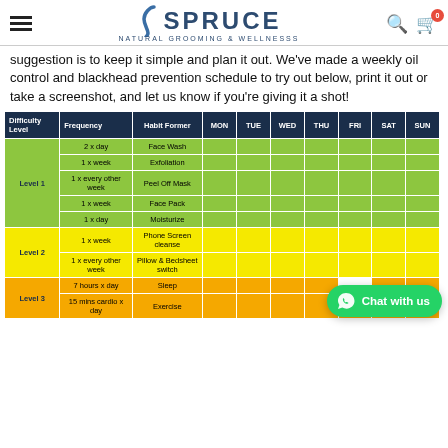Spruce Natural Grooming & Wellness
suggestion is to keep it simple and plan it out. We've made a weekly oil control and blackhead prevention schedule to try out below, print it out or take a screenshot, and let us know if you're giving it a shot!
| Difficulty Level | Frequency | Habit Former | MON | TUE | WED | THU | FRI | SAT | SUN |
| --- | --- | --- | --- | --- | --- | --- | --- | --- | --- |
| Level 1 | 2 x day | Face Wash |  |  |  |  |  |  |  |
| Level 1 | 1 x week | Exfoliation |  |  |  |  |  |  |  |
| Level 1 | 1 x every other week | Peel Off Mask |  |  |  |  |  |  |  |
| Level 1 | 1 x week | Face Pack |  |  |  |  |  |  |  |
| Level 1 | 1 x day | Moisturize |  |  |  |  |  |  |  |
| Level 2 | 1 x week | Phone Screen cleanse |  |  |  |  |  |  |  |
| Level 2 | 1 x every other week | Pillow & Bedsheet switch |  |  |  |  |  |  |  |
| Level 3 | 7 hours x day | Sleep |  |  |  |  |  |  |  |
| Level 3 | 15 mins cardio x day | Exercise |  |  |  |  |  |  |  |